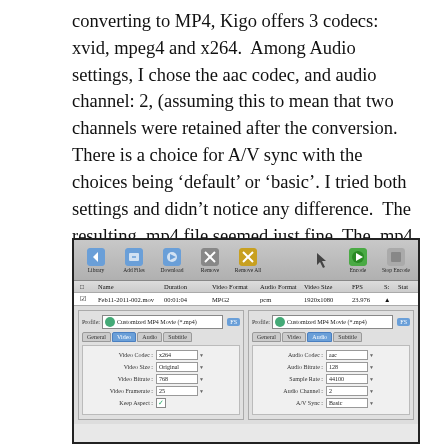converting to MP4, Kigo offers 3 codecs: xvid, mpeg4 and x264.  Among Audio settings, I chose the aac codec, and audio channel: 2, (assuming this to mean that two channels were retained after the conversion. There is a choice for A/V sync with the choices being 'default' or 'basic'. I tried both settings and didn't notice any difference.  The resulting .mp4 file seemed just fine. The .mp4 played in most players, the sound was in stereo and the file size was reduced from 293.8 MB to 7.3 MB.
[Figure (screenshot): Screenshot of Kigo video converter application showing a file named Feb11-2011-002.mov with duration 00:01:04, Video Format MPG2, Audio Format pcm, Video Size 1920x1080, FPS 23.976. Below are two settings panels side by side: left panel shows Video tab with Video Codec: x264, Video Size: Original, Video Bitrate: 768, Video Framerate: 25, Keep Aspect checked; right panel shows Audio tab with Audio Codec: aac, Audio Bitrate: 128, Sample Rate: 44100, Audio Channel: 2, A/V Sync: Basic.]